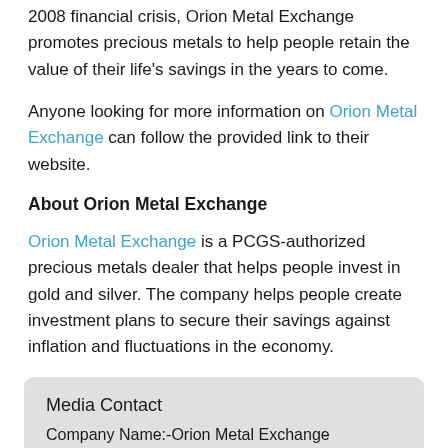2008 financial crisis, Orion Metal Exchange promotes precious metals to help people retain the value of their life's savings in the years to come.
Anyone looking for more information on Orion Metal Exchange can follow the provided link to their website.
About Orion Metal Exchange
Orion Metal Exchange is a PCGS-authorized precious metals dealer that helps people invest in gold and silver. The company helps people create investment plans to secure their savings against inflation and fluctuations in the economy.
| Media Contact |
| --- |
| Company Name:-Orion Metal Exchange |